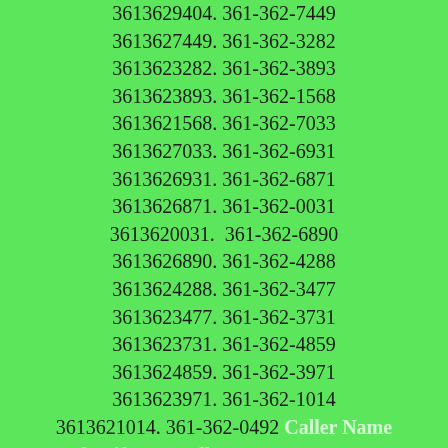3613629404. 361-362-7449 3613627449. 361-362-3282 3613623282. 361-362-3893 3613623893. 361-362-1568 3613621568. 361-362-7033 3613627033. 361-362-6931 3613626931. 361-362-6871 3613626871. 361-362-0031 3613620031. 361-362-6890 3613626890. 361-362-4288 3613624288. 361-362-3477 3613623477. 361-362-3731 3613623731. 361-362-4859 3613624859. 361-362-3971 3613623971. 361-362-1014 3613621014. 361-362-0492 Caller Name Identify My Caller 3613620492. 361-362-6853 3613626853. 361-362-2417 3613622417. 361-362-0687 Caller Name Identify My Caller 3613620687. 361-362-5585 3613625585. 361-362-1327 3613621327. 361-362-0535 Caller Name Identify My Caller 3613620535. 361-362-4271 3613624271. 361-362-9188 3613629188. 361-362-6962 3613626962. 361-362-1091